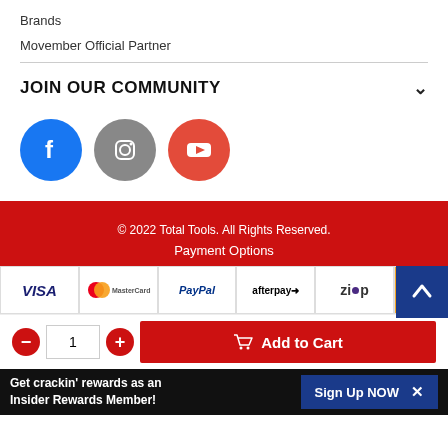Brands
Movember Official Partner
JOIN OUR COMMUNITY
[Figure (illustration): Three social media icon circles: Facebook (blue), Instagram (grey), YouTube (red-orange)]
© 2022 Total Tools. All Rights Reserved.
Payment Options
[Figure (infographic): Payment method logos: VISA, MasterCard, PayPal, afterpay, zip, open pay]
Add to Cart
Get crackin' rewards as an Insider Rewards Member! Sign Up NOW ×